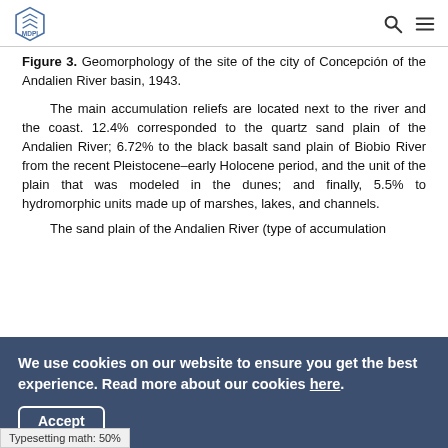MDPI
Figure 3. Geomorphology of the site of the city of Concepción of the Andalien River basin, 1943.
The main accumulation reliefs are located next to the river and the coast. 12.4% corresponded to the quartz sand plain of the Andalien River; 6.72% to the black basalt sand plain of Biobio River from the recent Pleistocene–early Holocene period, and the unit of the plain that was modeled in the dunes; and finally, 5.5% to hydromorphic units made up of marshes, lakes, and channels.
The sand plain of the Andalien River (type of accumulation relief...
We use cookies on our website to ensure you get the best experience. Read more about our cookies here.
Accept
Typesetting math: 50%